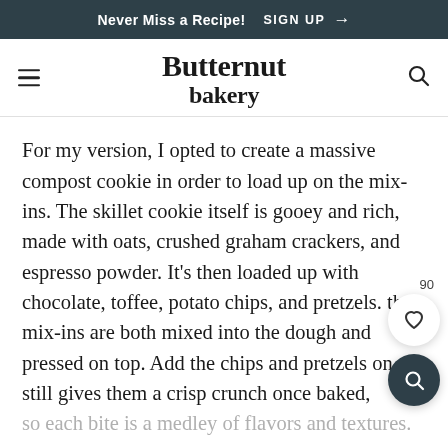Never Miss a Recipe! SIGN UP →
Butternut bakery
For my version, I opted to create a massive compost cookie in order to load up on the mix-ins. The skillet cookie itself is gooey and rich, made with oats, crushed graham crackers, and espresso powder. It's then loaded up with chocolate, toffee, potato chips, and pretzels. the mix-ins are both mixed into the dough and pressed on top. Add the chips and pretzels on top still gives them a crisp crunch once baked,
so each bite is a medley of flavors and textures.